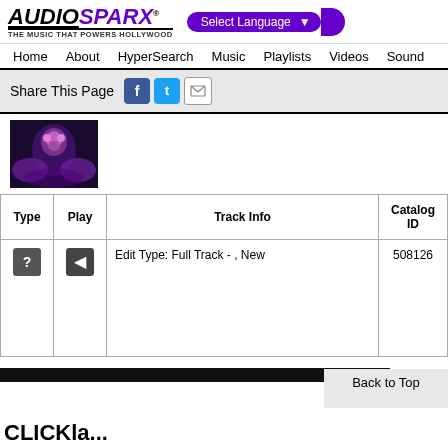[Figure (logo): AudioSparx logo with tagline 'THE MUSIC THAT POWERS HOLLYWOOD']
Select Language
Home   About   HyperSearch   Music   Playlists   Videos   Sound
Share This Page
[Figure (photo): Album art thumbnail showing a face with psychedelic colors]
| Type | Play | Track Info | Catalog ID |
| --- | --- | --- | --- |
| ? | speaker | Edit Type: Full Track - , New | 508126 |
Back to Top